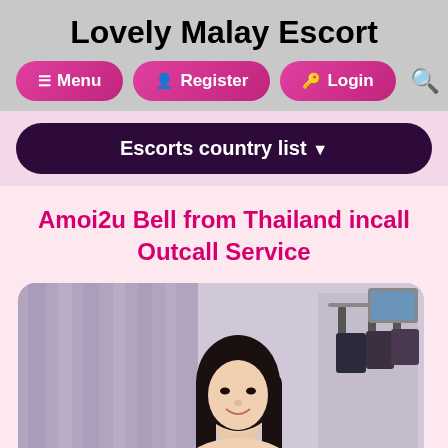Lovely Malay Escort
Menu | Register | Login
Escorts country list
Amoi2u Bell from Thailand incall Outcall Service
[Figure (photo): Photo of a young woman with long dark hair smiling, standing in a room with curtains and clothing rack in background]